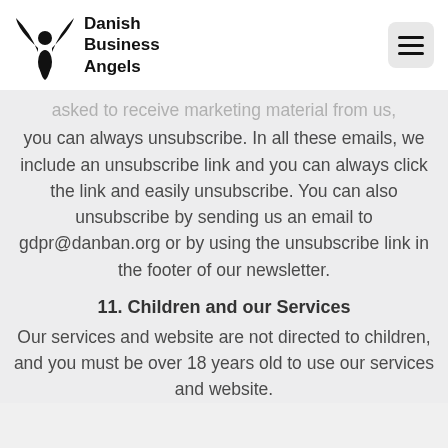Danish Business Angels
asked to receive marketing material from us, you can always unsubscribe. In all these emails, we include an unsubscribe link and you can always click the link and easily unsubscribe. You can also unsubscribe by sending us an email to gdpr@danban.org or by using the unsubscribe link in the footer of our newsletter.
11. Children and our Services
Our services and website are not directed to children, and you must be over 18 years old to use our services and website.